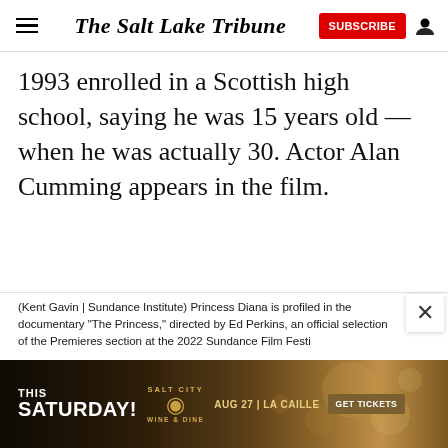The Salt Lake Tribune
1993 enrolled in a Scottish high school, saying he was 15 years old — when he was actually 30. Actor Alan Cumming appears in the film.
(Kent Gavin | Sundance Institute) Princess Diana is profiled in the documentary "The Princess," directed by Ed Perkins, an official selection of the Premieres section at the 2022 Sundance Film Festi
[Figure (photo): Advertisement banner: Salt City Wine & Dine, This Saturday, Aug 27, La Caille, Get Tickets]